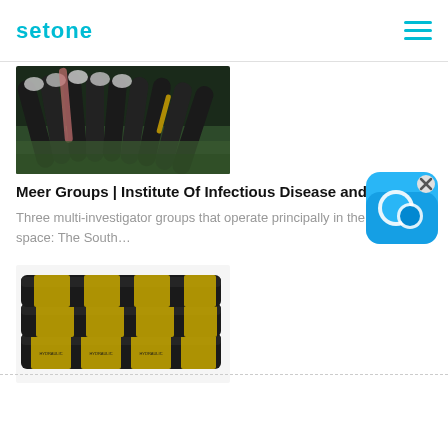setone
[Figure (photo): Bundled hydraulic hoses with metal fittings on a green surface]
Meer Groups | Institute Of Infectious Disease and
Three multi-investigator groups that operate principally in the TB/HIV space: The South…
[Figure (illustration): Blue chat/message app icon with speech bubble and X close button]
[Figure (photo): Stacked black rubber hydraulic hoses with yellow band labels]